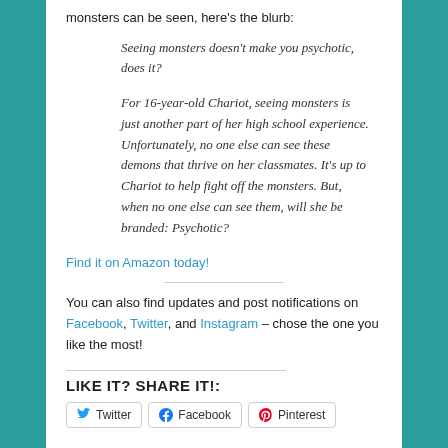monsters can be seen, here's the blurb:
Seeing monsters doesn't make you psychotic, does it?
For 16-year-old Chariot, seeing monsters is just another part of her high school experience. Unfortunately, no one else can see these demons that thrive on her classmates. It's up to Chariot to help fight off the monsters. But, when no one else can see them, will she be branded: Psychotic?
Find it on Amazon today!
You can also find updates and post notifications on Facebook, Twitter, and Instagram – chose the one you like the most!
LIKE IT? SHARE IT!:
Twitter  Facebook  Pinterest